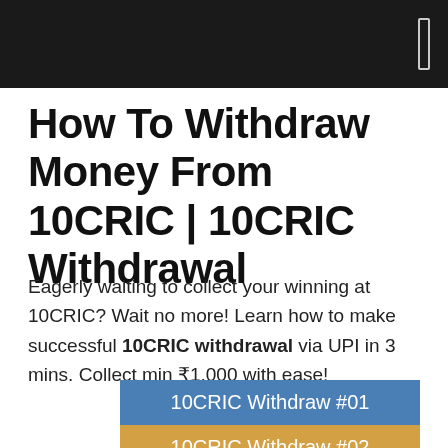How To Withdraw Money From 10CRIC | 10CRIC Withdrawal
Eagerly waiting to collect your winning at 10CRIC? Wait no more! Learn how to make successful 10CRIC withdrawal via UPI in 3 mins. Collect min ₹1,000 with ease!
10CRIC Withdraw #01
10CRIC Withdraw #02